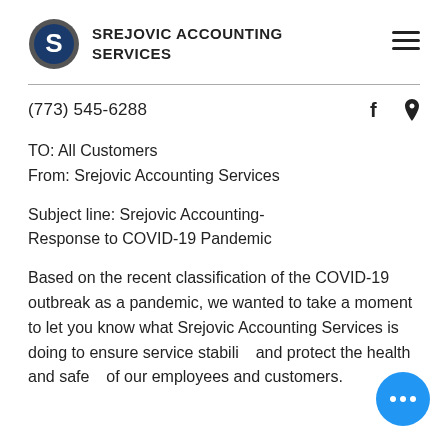SREJOVIC ACCOUNTING SERVICES
(773) 545-6288
TO: All Customers
From: Srejovic Accounting Services
Subject line: Srejovic Accounting-Response to COVID-19 Pandemic
Based on the recent classification of the COVID-19 outbreak as a pandemic, we wanted to take a moment to let you know what Srejovic Accounting Services is doing to ensure service stability and protect the health and safety of our employees and customers.